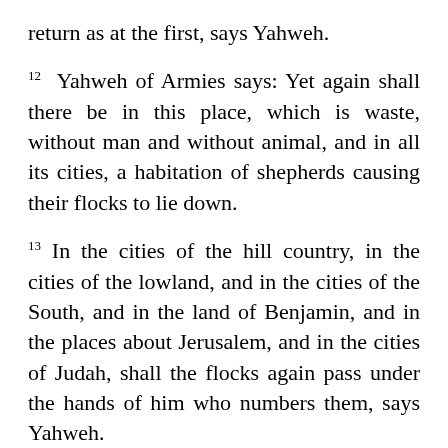return as at the first, says Yahweh.
12 Yahweh of Armies says: Yet again shall there be in this place, which is waste, without man and without animal, and in all its cities, a habitation of shepherds causing their flocks to lie down.
13 In the cities of the hill country, in the cities of the lowland, and in the cities of the South, and in the land of Benjamin, and in the places about Jerusalem, and in the cities of Judah, shall the flocks again pass under the hands of him who numbers them, says Yahweh.
14 Behold, the days come, says Yahweh, that I will perform that good word which I have spoken concerning the house of Israel and